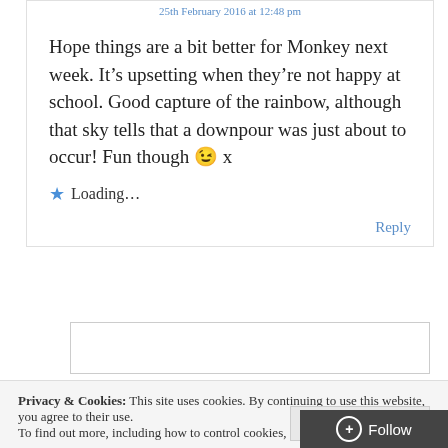25th February 2016 at 12:48 pm
Hope things are a bit better for Monkey next week. It’s upsetting when they’re not happy at school. Good capture of the rainbow, although that sky tells that a downpour was just about to occur! Fun though 😉 x
★ Loading...
Reply
Privacy & Cookies: This site uses cookies. By continuing to use this website, you agree to their use.
To find out more, including how to control cookies, see here: Cookie Policy
Close and accept
+ Follow